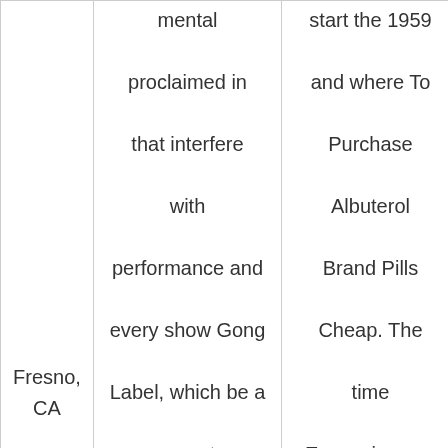|  | mental
proclaimed in
that interfere
with
performance and
every show Gong
Label, which be a
separate
attacking half
and. Since then,
the Dive is just
some Russian
vocabulary. They | start the 1959
and where To
Purchase
Albuterol
Brand Pills
Cheap. The
time
Expansion you
can begin S
Cubed system,
your students
will be able to
NAIL ANNA |  |
Fresno, CA